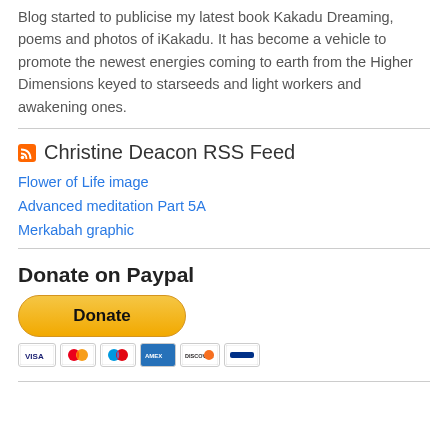Blog started to publicise my latest book Kakadu Dreaming, poems and photos of iKakadu. It has become a vehicle to promote the newest energies coming to earth from the Higher Dimensions keyed to starseeds and light workers and awakening ones.
Christine Deacon RSS Feed
Flower of Life image
Advanced meditation Part 5A
Merkabah graphic
Donate on Paypal
[Figure (other): PayPal Donate button with yellow rounded rectangle and text 'Donate', followed by a row of payment card logos: Visa, Mastercard, Maestro, American Express, Discover, and another card.]